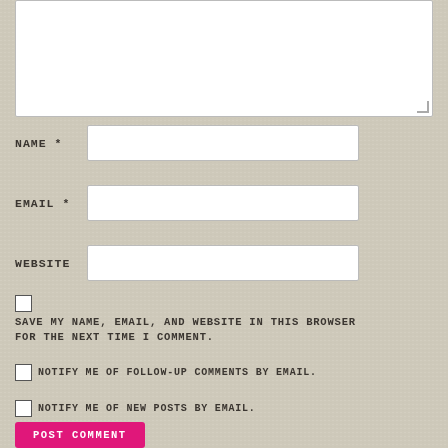[Figure (screenshot): Web comment form showing a textarea at top, then labeled input fields for Name (required), Email (required), Website, a checkbox to save name/email/website in browser, checkboxes to notify of follow-up comments and new posts by email, and a Post Comment button.]
NAME *
EMAIL *
WEBSITE
SAVE MY NAME, EMAIL, AND WEBSITE IN THIS BROWSER FOR THE NEXT TIME I COMMENT.
NOTIFY ME OF FOLLOW-UP COMMENTS BY EMAIL.
NOTIFY ME OF NEW POSTS BY EMAIL.
POST COMMENT